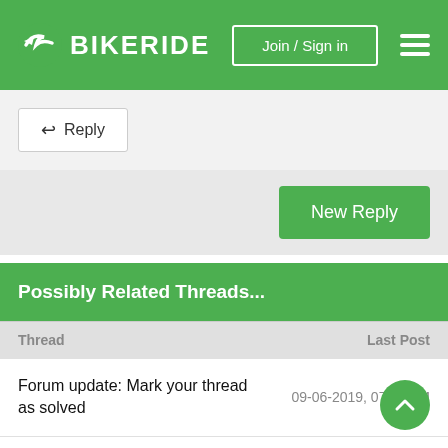BIKERIDE | Join / Sign in
← Reply
New Reply
Possibly Related Threads...
| Thread | Last Post |
| --- | --- |
| Forum update: Mark your thread as solved | 09-06-2019, 07:56 AM |
| SRAM rear derailleur arm length | 06-28-2017, 12:52 AM |